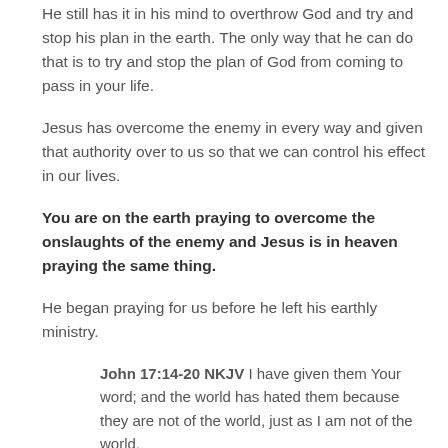He still has it in his mind to overthrow God and try and stop his plan in the earth. The only way that he can do that is to try and stop the plan of God from coming to pass in your life.
Jesus has overcome the enemy in every way and given that authority over to us so that we can control his effect in our lives.
You are on the earth praying to overcome the onslaughts of the enemy and Jesus is in heaven praying the same thing.
He began praying for us before he left his earthly ministry.
John 17:14-20 NKJV I have given them Your word; and the world has hated them because they are not of the world, just as I am not of the world.